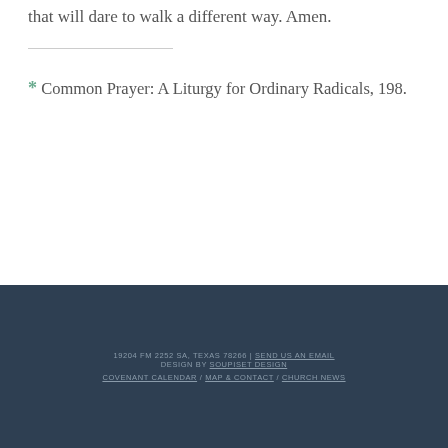that will dare to walk a different way. Amen.
* Common Prayer: A Liturgy for Ordinary Radicals, 198.
19204 FM 2252 SA, TEXAS 78266 | SEND US AN EMAIL  DESIGN BY SOUPISET DESIGN  COVENANT CALENDAR / MAP & CONTACT / CHURCH NEWS